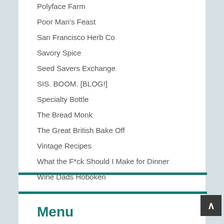Polyface Farm
Poor Man's Feast
San Francisco Herb Co
Savory Spice
Seed Savers Exchange
SIS. BOOM. [BLOG!]
Specialty Bottle
The Bread Monk
The Great British Bake Off
Vintage Recipes
What the F*ck Should I Make for Dinner
Wine Dads Hoboken
Menu